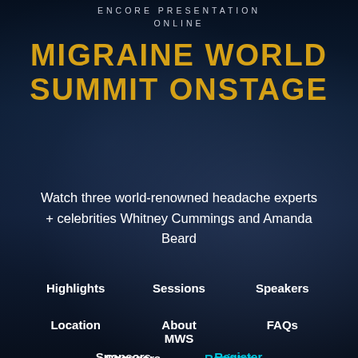ENCORE PRESENTATION ONLINE
MIGRAINE WORLD SUMMIT ONSTAGE
Watch three world-renowned headache experts + celebrities Whitney Cummings and Amanda Beard
Highlights
Sessions
Speakers
Location
About MWS
FAQs
Sponsors
Register